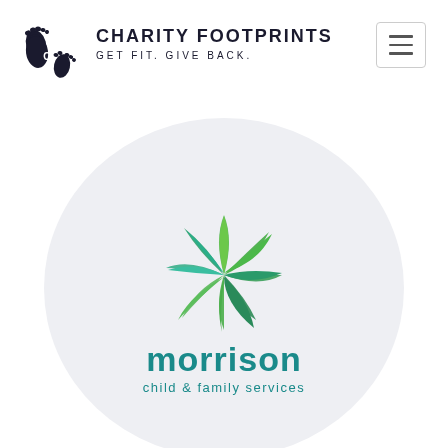[Figure (logo): Charity Footprints logo: two dark blue footprints with 'CF' text inside]
CHARITY FOOTPRINTS
GET FIT. GIVE BACK.
[Figure (logo): Morrison Child & Family Services logo: green pinwheel/leaf flower design above the text 'morrison child & family services' in teal]